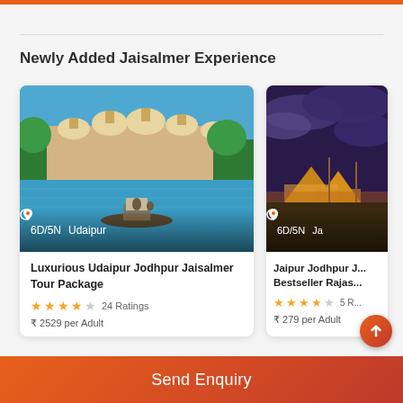Newly Added Jaisalmer Experience
[Figure (photo): Photo of Udaipur palace with blue water in foreground and boat; overlay shows 6D/5N duration and Udaipur location]
Luxurious Udaipur Jodhpur Jaisalmer Tour Package
24 Ratings
₹ 2529 per Adult
[Figure (photo): Photo of desert camp at dusk with dramatic cloudy purple sky; overlay shows 6D/5N duration and Ja... location]
Jaipur Jodhpur J... Bestseller Rajas...
5 R...
₹ 279 per Adult
Send Enquiry